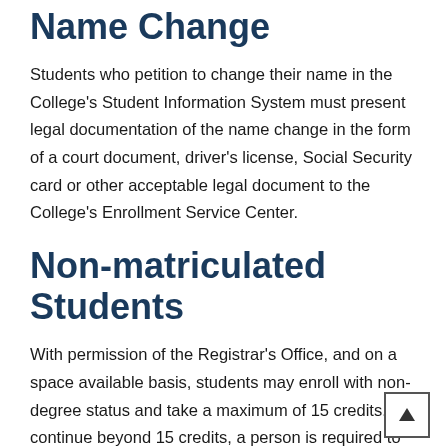Name Change
Students who petition to change their name in the College's Student Information System must present legal documentation of the name change in the form of a court document, driver's license, Social Security card or other acceptable legal document to the College's Enrollment Service Center.
Non-matriculated Students
With permission of the Registrar's Office, and on a space available basis, students may enroll with non-degree status and take a maximum of 15 credits. To continue beyond 15 credits, a person is required to apply for admission to a degree program or receive approval from